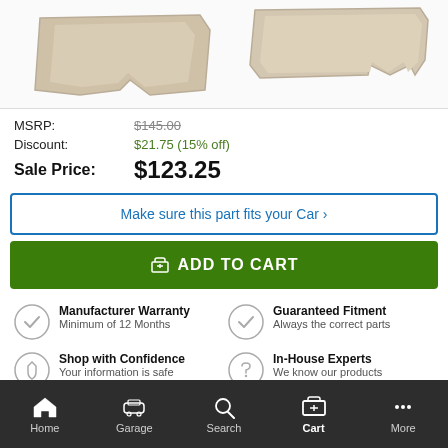[Figure (photo): Product photo of car floor mats in beige/tan color, showing two floor mats with cutouts]
MSRP: $145.00
Discount: $21.75 (15% off)
Sale Price: $123.25
Make sure this part fits your Car ›
ADD TO CART
Manufacturer Warranty
Minimum of 12 Months
Guaranteed Fitment
Always the correct parts
Shop with Confidence
Your information is safe
In-House Experts
We know our products
DETAILS
Home  Garage  Search  Cart  More